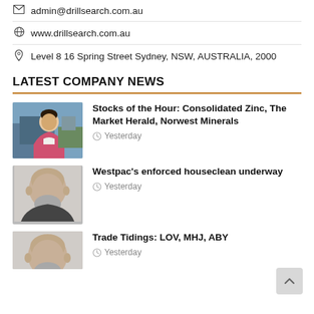admin@drillsearch.com.au
www.drillsearch.com.au
Level 8 16 Spring Street Sydney, NSW, AUSTRALIA, 2000
LATEST COMPANY NEWS
[Figure (photo): News presenter woman in pink jacket with mining site background]
Stocks of the Hour: Consolidated Zinc, The Market Herald, Norwest Minerals
Yesterday
[Figure (photo): Older bald man with grey beard, headshot]
Westpac's enforced houseclean underway
Yesterday
[Figure (photo): Older bald man with grey beard, headshot, partially visible]
Trade Tidings: LOV, MHJ, ABY
Yesterday